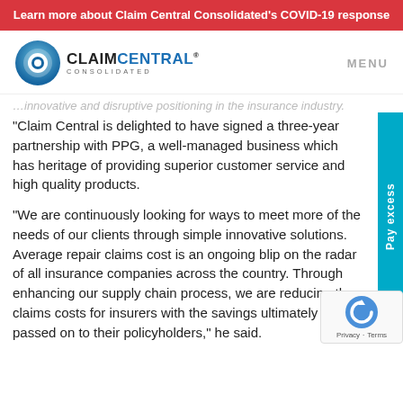Learn more about Claim Central Consolidated's COVID-19 response
[Figure (logo): Claim Central Consolidated logo with blue circle icon and company name]
innovative and disruptive positioning in the insurance industry.
“Claim Central is delighted to have signed a three-year partnership with PPG, a well-managed business which has heritage of providing superior customer service and high quality products.
“We are continuously looking for ways to meet more of the needs of our clients through simple innovative solutions. Average repair claims cost is an ongoing blip on the radar of all insurance companies across the country. Through enhancing our supply chain process, we are reducing the claims costs for insurers with the savings ultimately being passed on to their policyholders,” he said.